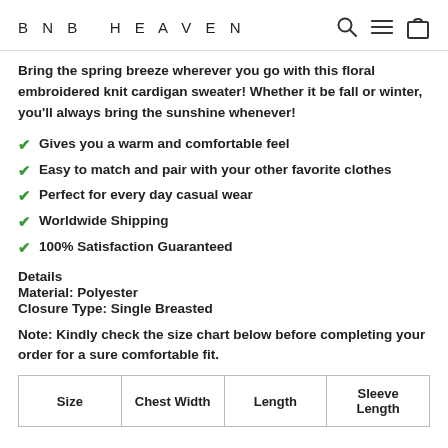BNB HEAVEN
Bring the spring breeze wherever you go with this floral embroidered knit cardigan sweater! Whether it be fall or winter, you'll always bring the sunshine whenever!
Gives you a warm and comfortable feel
Easy to match and pair with your other favorite clothes
Perfect for every day casual wear
Worldwide Shipping
100% Satisfaction Guaranteed
Details
Material: Polyester
Closure Type: Single Breasted
Note: Kindly check the size chart below before completing your order for a sure comfortable fit.
| Size | Chest Width | Length | Sleeve Length |
| --- | --- | --- | --- |